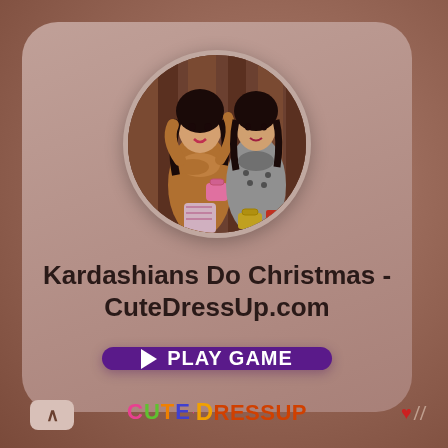[Figure (illustration): Rounded card UI showing a game app preview. Contains a circular avatar image of two animated fashion-dressed women (Kardashians), a game title, a purple play button, and the CuteDressup logo at the bottom.]
Kardashians Do Christmas - CuteDressUp.com
PLAY GAME
[Figure (logo): CuteDressup logo with colorful letters: CUTE in pink/green/orange/blue and Dressup in orange-red with a capital D in yellow-orange.]